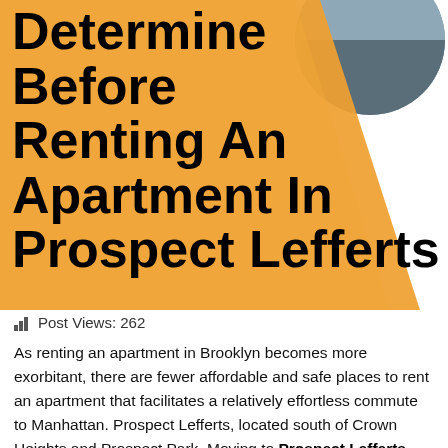[Figure (illustration): Orange triangular/diagonal shape background with a partial circular photo in the upper right corner, forming a decorative hero banner]
Determine Before Renting An Apartment In Prospect Lefferts
Post Views: 262
As renting an apartment in Brooklyn becomes more exorbitant, there are fewer affordable and safe places to rent an apartment that facilitates a relatively effortless commute to Manhattan. Prospect Lefferts, located south of Crown Heights and Prospect Park. Moving to Prospect Lefferts apartments is becoming popular among renters due to its location and affordability.
As a question of apartment buildings and...